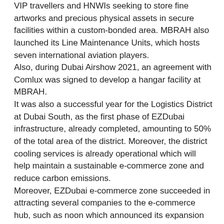VIP travellers and HNWIs seeking to store fine artworks and precious physical assets in secure facilities within a custom-bonded area. MBRAH also launched its Line Maintenance Units, which hosts seven international aviation players. Also, during Dubai Airshow 2021, an agreement with Comlux was signed to develop a hangar facility at MBRAH. It was also a successful year for the Logistics District at Dubai South, as the first phase of EZDubai infrastructure, already completed, amounting to 50% of the total area of the district. Moreover, the district cooling services is already operational which will help maintain a sustainable e-commerce zone and reduce carbon emissions. Moreover, EZDubai e-commerce zone succeeded in attracting several companies to the e-commerce hub, such as noon which announced its expansion with the opening of its customer fulfilment facility to expand upon its operations and continuous drive for growth. As a result of the surge in demand for last mile facilities across the region, we also managed to attract Uda Express, one of